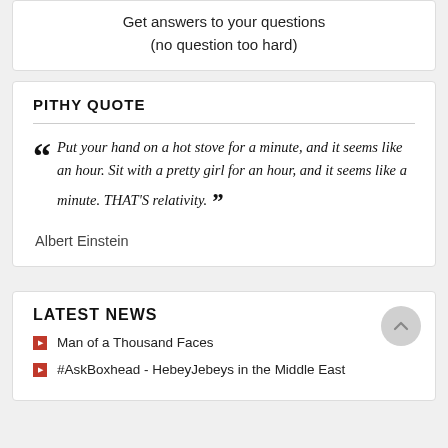Get answers to your questions
(no question too hard)
PITHY QUOTE
Put your hand on a hot stove for a minute, and it seems like an hour. Sit with a pretty girl for an hour, and it seems like a minute. THAT'S relativity.
Albert Einstein
LATEST NEWS
Man of a Thousand Faces
#AskBoxhead - HebeyJebeys in the Middle East